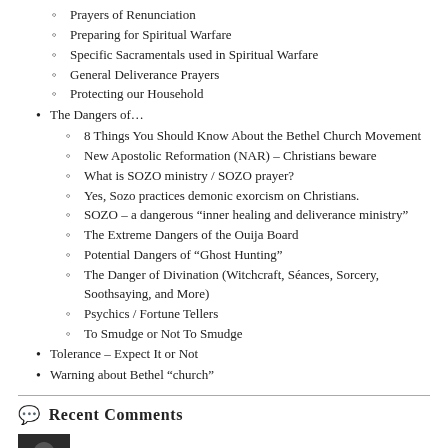Prayers of Renunciation
Preparing for Spiritual Warfare
Specific Sacramentals used in Spiritual Warfare
General Deliverance Prayers
Protecting our Household
The Dangers of...
8 Things You Should Know About the Bethel Church Movement
New Apostolic Reformation (NAR) – Christians beware
What is SOZO ministry / SOZO prayer?
Yes, Sozo practices demonic exorcism on Christians.
SOZO – a dangerous “inner healing and deliverance ministry”
The Extreme Dangers of the Ouija Board
Potential Dangers of “Ghost Hunting”
The Danger of Divination (Witchcraft, Séances, Sorcery, Soothsaying, and More)
Psychics / Fortune Tellers
To Smudge or Not To Smudge
Tolerance – Expect It or Not
Warning about Bethel “church”
Recent Comments
Rev. LJ on Foods That Are Okay to Eat for...